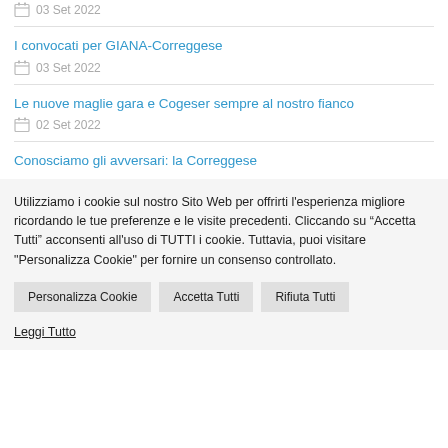03 Set 2022
I convocati per GIANA-Correggese
03 Set 2022
Le nuove maglie gara e Cogeser sempre al nostro fianco
02 Set 2022
Conosciamo gli avversari: la Correggese
Utilizziamo i cookie sul nostro Sito Web per offrirti l'esperienza migliore ricordando le tue preferenze e le visite precedenti. Cliccando su “Accetta Tutti” acconsenti all'uso di TUTTI i cookie. Tuttavia, puoi visitare "Personalizza Cookie" per fornire un consenso controllato.
Personalizza Cookie | Accetta Tutti | Rifiuta Tutti
Leggi Tutto